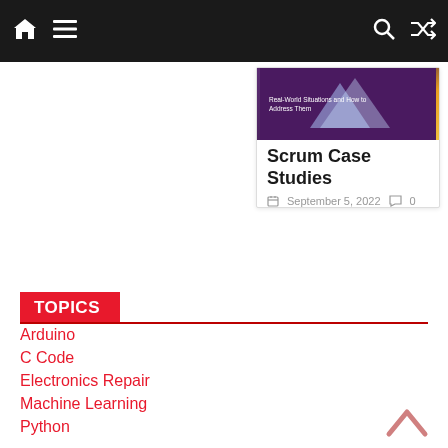Navigation bar with home, menu, search, and shuffle icons
[Figure (screenshot): Blog post card with purple/dark thumbnail image showing 'Real-World Situations and How to Address Them' text, with title 'Scrum Case Studies' and date September 5, 2022 with 0 comments]
TOPICS
Arduino
C Code
Electronics Repair
Machine Learning
Python
Raspberry Pi
Uncategorized